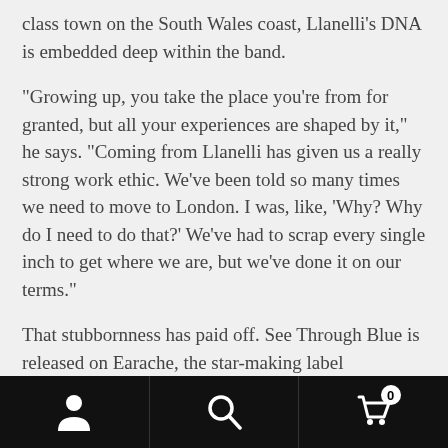class town on the South Wales coast, Llanelli's DNA is embedded deep within the band.
“Growing up, you take the place you’re from for granted, but all your experiences are shaped by it,” he says. “Coming from Llanelli has given us a really strong work ethic. We’ve been told so many times we need to move to London. I was, like, ‘Why? Why do I need to do that?’ We’ve had to scrap every single inch to get where we are, but we’ve done it on our terms.”
That stubbornness has paid off. See Through Blue is released on Earache, the star-making label responsible for the careers of Rival Sons, The Temperance Movement and Blackberry Smoke – company Scarlet Rebels are happy